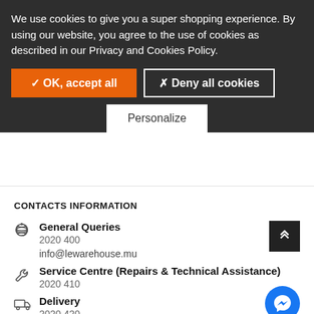We use cookies to give you a super shopping experience. By using our website, you agree to the use of cookies as described in our Privacy and Cookies Policy.
✓ OK, accept all
✗ Deny all cookies
Personalize
CONTACTS INFORMATION
General Queries
2020 400
info@lewarehouse.mu
Service Centre (Repairs & Technical Assistance)
2020 410
Delivery
2020 420